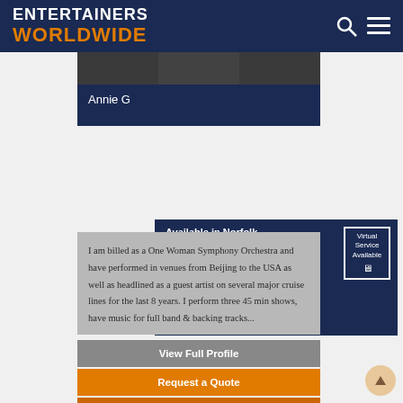ENTERTAINERS WORLDWIDE
Annie G
Available in Norfolk
Based in: Ilford, London
★★★★★ (5 Reviews)
Virtual Service Available
From: £500
I am billed as a One Woman Symphony Orchestra and have performed in venues from Beijing to the USA as well as headlined as a guest artist on several major cruise lines for the last 8 years. I perform three 45 min shows, have music for full band & backing tracks...
View Full Profile
Request a Quote